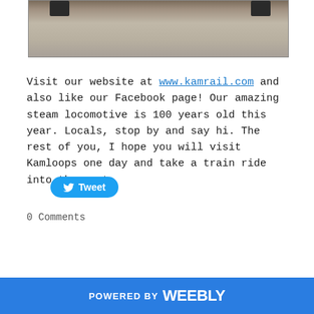[Figure (photo): Partial photo of a railway/train scene showing dark metal rail fixtures against a concrete or gravel surface, cropped at the top of the page.]
Visit our website at www.kamrail.com and also like our Facebook page!  Our amazing steam locomotive is 100 years old this year.  Locals, stop by and say hi.  The rest of you, I hope you will visit Kamloops one day and take a train ride into the past.
Tweet
0 Comments
POWERED BY weebly